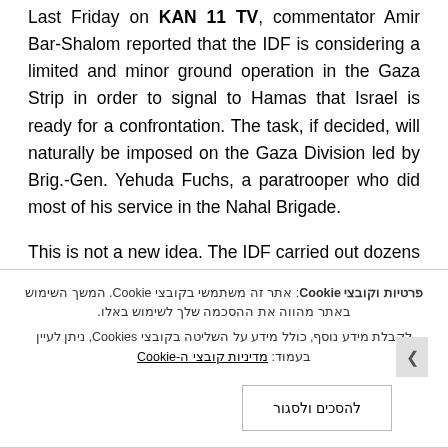Last Friday on KAN 11 TV, commentator Amir Bar-Shalom reported that the IDF is considering a limited and minor ground operation in the Gaza Strip in order to signal to Hamas that Israel is ready for a confrontation. The task, if decided, will naturally be imposed on the Gaza Division led by Brig.-Gen. Yehuda Fuchs, a paratrooper who did most of his service in the Nahal Brigade.

This is not a new idea. The IDF carried out dozens of limited ground operations over the years on all the fronts on which he operated. This method of raids was also practiced in the period before and
פרטיות וקובצי Cookie: אתר זה משתמשי בקובצי Cookie. המשך השימוש באתר מהווה את ההסכמה שלך לשימוש באלו. לקבלת מידע נוסף, כולל מידע על השליטה בקובצי Cookies, ניתן לעיין בעמוד: מדיניות קובצי ה-Cookie
להסכים ולסגור